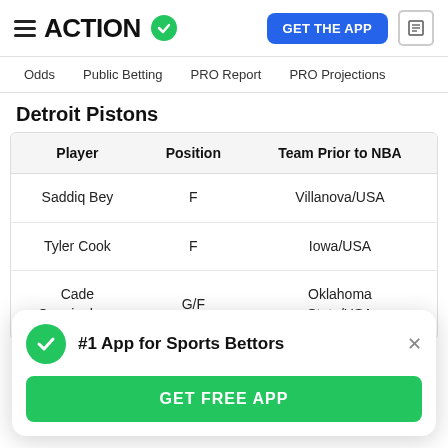ACTION (logo with checkmark) | GET THE APP
Odds   Public Betting   PRO Report   PRO Projections
Detroit Pistons
| Player | Position | Team Prior to NBA |
| --- | --- | --- |
| Saddiq Bey | F | Villanova/USA |
| Tyler Cook | F | Iowa/USA |
| Cade Cunningham | G/F | Oklahoma State/USA |
#1 App for Sports Bettors | GET FREE APP